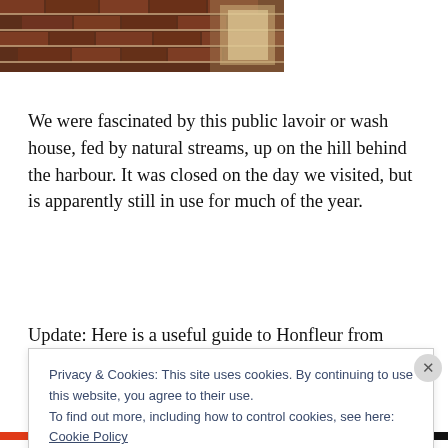[Figure (photo): Partial view of a brick building exterior, close-up of brick wall and architectural detail]
We were fascinated by this public lavoir or wash house, fed by natural streams, up on the hill behind the harbour. It was closed on the day we visited, but is apparently still in use for much of the year.
Update: Here is a useful guide to Honfleur from
Privacy & Cookies: This site uses cookies. By continuing to use this website, you agree to their use.
To find out more, including how to control cookies, see here: Cookie Policy
Close and accept